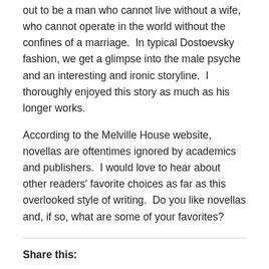out to be a man who cannot live without a wife, who cannot operate in the world without the confines of a marriage.  In typical Dostoevsky fashion, we get a glimpse into the male psyche and an interesting and ironic storyline.  I thoroughly enjoyed this story as much as his longer works.
According to the Melville House website, novellas are oftentimes ignored by academics and publishers.  I would love to hear about other readers' favorite choices as far as this overlooked style of writing.  Do you like novellas and, if so, what are some of your favorites?
Share this: